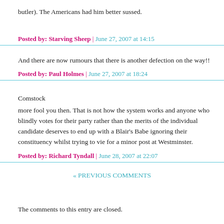butler). The Americans had him better sussed.
Posted by: Starving Sheep | June 27, 2007 at 14:15
And there are now rumours that there is another defection on the way!!
Posted by: Paul Holmes | June 27, 2007 at 18:24
Comstock
more fool you then. That is not how the system works and anyone who blindly votes for their party rather than the merits of the individual candidate deserves to end up with a Blair's Babe ignoring their constituency whilst trying to vie for a minor post at Westminster.
Posted by: Richard Tyndall | June 28, 2007 at 22:07
« PREVIOUS COMMENTS
The comments to this entry are closed.